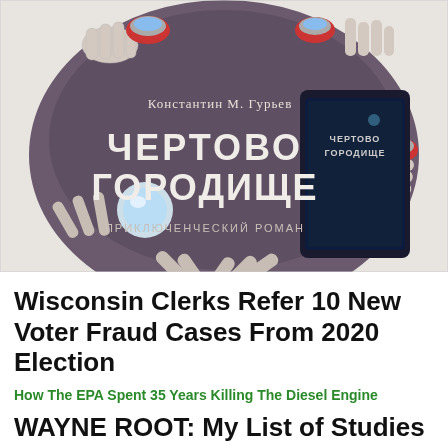[Figure (illustration): Book cover illustration showing multiple hands around a round table with coffee cups, featuring the Russian text 'Константин М. Гурьев' (author name), 'ЧЕРТОВО ГОРОДИЩЕ' (title), 'ПРИКЛЮЧЕНЧЕСКИЙ РОМАН' (adventure novel), with a tablet/phone showing the book cover on the right side. Illustration style is dark muted tones.]
Wisconsin Clerks Refer 10 New Voter Fraud Cases From 2020 Election
How The EPA Spent 35 Years Killing The Diesel Engine
WAYNE ROOT: My List of Studies & Government Data from Around